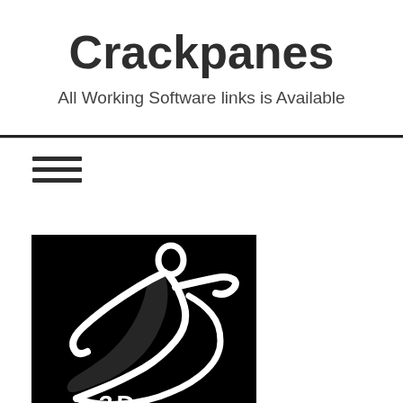Crackpanes
All Working Software links is Available
[Figure (logo): ZBrush logo — white stylized figure of a person sculpting on a black background, with '3D' text partially visible at the bottom]